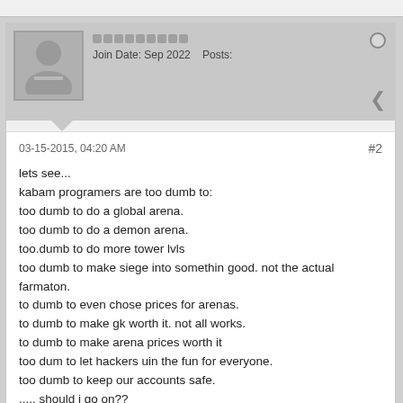Join Date: Sep 2022   Posts:
03-15-2015, 04:20 AM
#2
lets see...
kabam programers are too dumb to:
too dumb to do a global arena.
too dumb to do a demon arena.
too.dumb to do more tower lvls
too dumb to make siege into somethin good. not the actual farmaton.
to dumb to even chose prices for arenas.
to dumb to make gk worth it. not all works.
to dumb to make arena prices worth it
too dum to let hackers uin the fun for everyone.
too dumb to keep our accounts safe.
..... should i go on??
Join Date: Sep 2022   Posts: